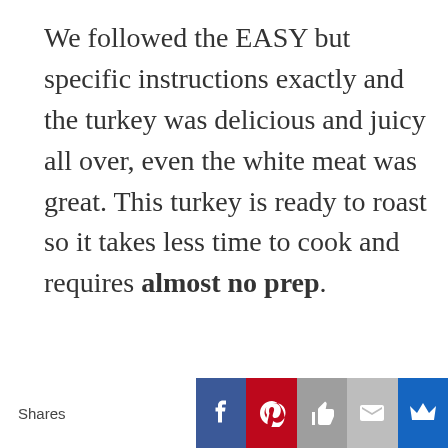We followed the EASY but specific instructions exactly and the turkey was delicious and juicy all over, even the white meat was great. This turkey is ready to roast so it takes less time to cook and requires almost no prep.
Can you cook turkey ahead and reheat?
Turkey can be fully roasted ahead of time and reheats beautifully with these easy instructions. No one will ever know you did it
[Figure (other): Social media share bar at bottom with Shares label, Facebook, Pinterest, thumbs-up/Yummly, email, and crown/Reddit buttons]